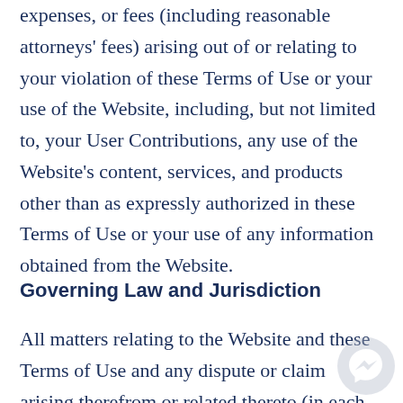expenses, or fees (including reasonable attorneys' fees) arising out of or relating to your violation of these Terms of Use or your use of the Website, including, but not limited to, your User Contributions, any use of the Website's content, services, and products other than as expressly authorized in these Terms of Use or your use of any information obtained from the Website.
Governing Law and Jurisdiction
All matters relating to the Website and these Terms of Use and any dispute or claim arising therefrom or related thereto (in each case, including non-contractual disputes or claims)